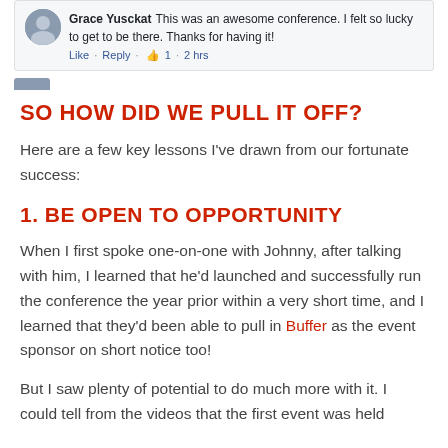[Figure (screenshot): Facebook comment screenshot showing Grace Yusckat's comment: 'This was an awesome conference. I felt so lucky to get to be there. Thanks for having it!' with Like · Reply · thumbs up 1 · 2 hrs]
SO HOW DID WE PULL IT OFF?
Here are a few key lessons I've drawn from our fortunate success:
1. BE OPEN TO OPPORTUNITY
When I first spoke one-on-one with Johnny, after talking with him, I learned that he'd launched and successfully run the conference the year prior within a very short time, and I learned that they'd been able to pull in Buffer as the event sponsor on short notice too!
But I saw plenty of potential to do much more with it. I could tell from the videos that the first event was held